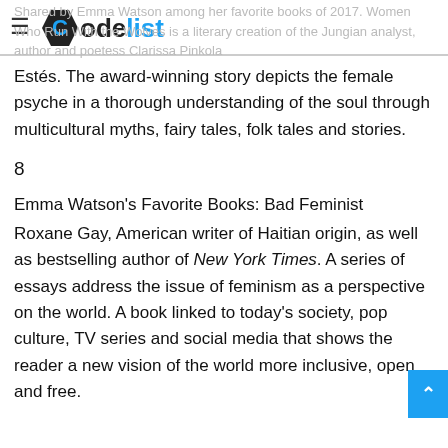CodeList
Shared by Emma Watson among her favorite books of 2017, Women Who Run With the Wolves is a literary creation of the Jungian analyst, author and poetess Clarissa Pinkola Estés. The award-winning story depicts the female psyche in a thorough understanding of the soul through multicultural myths, fairy tales, folk tales and stories.
8
Emma Watson's Favorite Books: Bad Feminist
Roxane Gay, American writer of Haitian origin, as well as bestselling author of New York Times. A series of essays address the issue of feminism as a perspective on the world. A book linked to today's society, pop culture, TV series and social media that shows the reader a new vision of the world more inclusive, open and free.